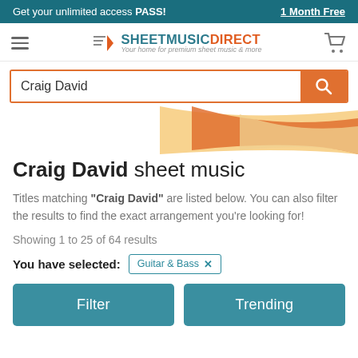Get your unlimited access PASS! 1 Month Free
[Figure (logo): Sheet Music Direct logo with hamburger menu and cart icon]
Craig David (search input)
[Figure (illustration): Decorative wave/swirl graphic in orange and cream tones]
Craig David sheet music
Titles matching "Craig David" are listed below. You can also filter the results to find the exact arrangement you're looking for!
Showing 1 to 25 of 64 results
You have selected: Guitar & Bass ×
Filter    Trending